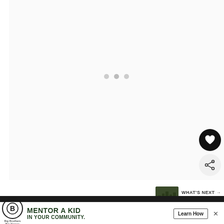[Figure (screenshot): White/light gray content loading area with three dots indicating a loading state]
[Figure (infographic): Black circular heart/favorite button]
[Figure (infographic): Light gray circular share button with share icon]
[Figure (screenshot): What's Next navigation panel showing thumbnail of trees/forest and text 'WHAT'S NEXT → Authors']
[Figure (screenshot): Dark banner bar with green italic text at bottom of page]
[Figure (infographic): Advertisement banner for Big Brothers Big Sisters: MENTOR A KID IN YOUR COMMUNITY. Learn How button with close X]